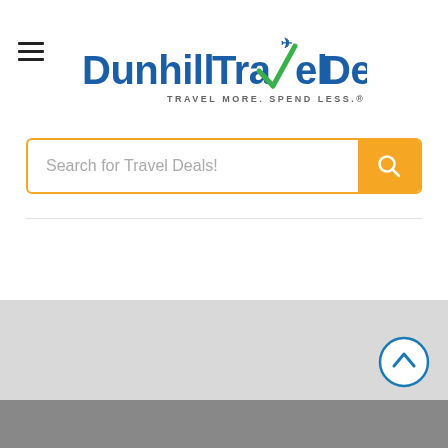[Figure (logo): Dunhill Travel Deals logo with blue text, green checkmark/plane icon, and tagline TRAVEL MORE. SPEND LESS.]
[Figure (screenshot): Search bar with placeholder text 'Search for Travel Deals!' and orange search button with magnifying glass icon]
READ RELATED TRAVEL POSTS
[Figure (photo): Gray image strip at bottom of page, partially visible]